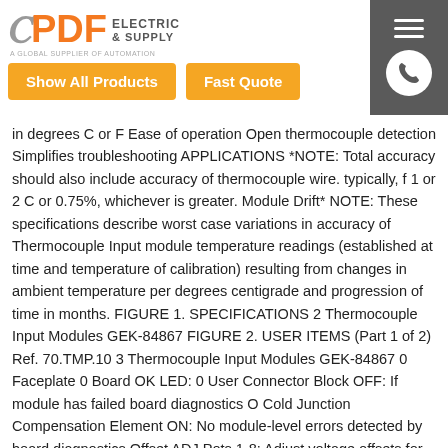PDF Electric & Supply — A Global Supplier of Automation
in degrees C or F Ease of operation Open thermocouple detection Simplifies troubleshooting APPLICATIONS *NOTE: Total accuracy should also include accuracy of thermocouple wire. typically, f 1 or 2 C or 0.75%, whichever is greater. Module Drift* NOTE: These specifications describe worst case variations in accuracy of Thermocouple Input module temperature readings (established at time and temperature of calibration) resulting from changes in ambient temperature per degrees centigrade and progression of time in months. FIGURE 1. SPECIFICATIONS 2 Thermocouple Input Modules GEK-84867 FIGURE 2. USER ITEMS (Part 1 of 2) Ref. 70.TMP.10 3 Thermocouple Input Modules GEK-84867 0 Faceplate 0 Board OK LED: 0 User Connector Block OFF: If module has failed board diagnostics O Cold Junction Compensation Element ON: No module-level errors detected by board diagnostics Offset ADJ Pots 1-8: Adjust voltage offsets for circuits 1-8, respectively. (Refer to Calibration section.) O GAIN ADJ Pots 1-8: Adjust voltage gains for